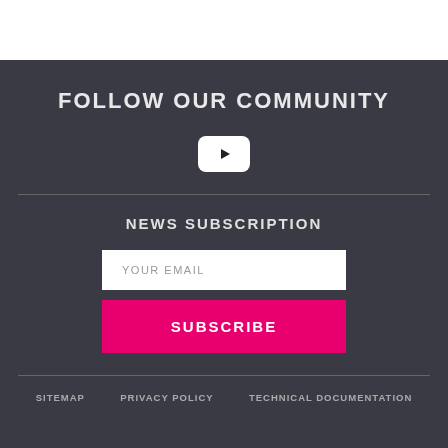FOLLOW OUR COMMUNITY
[Figure (logo): YouTube play button icon (white rounded rectangle with triangle)]
NEWS SUBSCRIPTION
YOUR EMAIL
SUBSCRIBE
SITEMAP   PRIVACY POLICY   TECHNICAL DOCUMENTATION